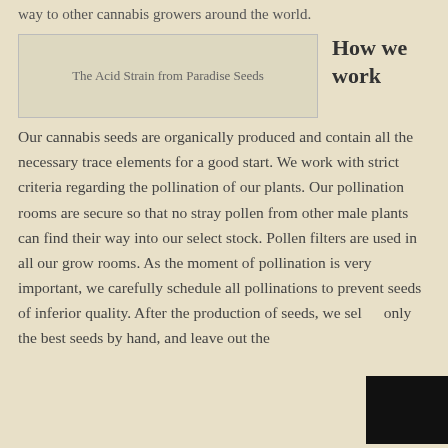way to other cannabis growers around the world.
[Figure (photo): The Acid Strain from Paradise Seeds — image placeholder with caption]
How we work
Our cannabis seeds are organically produced and contain all the necessary trace elements for a good start. We work with strict criteria regarding the pollination of our plants. Our pollination rooms are secure so that no stray pollen from other male plants can find their way into our select stock. Pollen filters are used in all our grow rooms. As the moment of pollination is very important, we carefully schedule all pollinations to prevent seeds of inferior quality. After the production of seeds, we select only the best seeds by hand, and leave out the